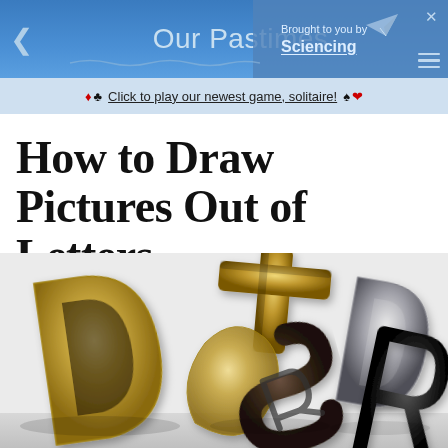Our Pastimes | Brought to you by Sciencing
♦ ♣ Click to play our newest game, solitaire! ♠ ♥
How to Draw Pictures Out of Letters
[Figure (photo): 3D metallic letters (gold, silver, dark bronze) tumbling and overlapping, showing letters D, t, S, D/R in various metallic finishes on a light background]